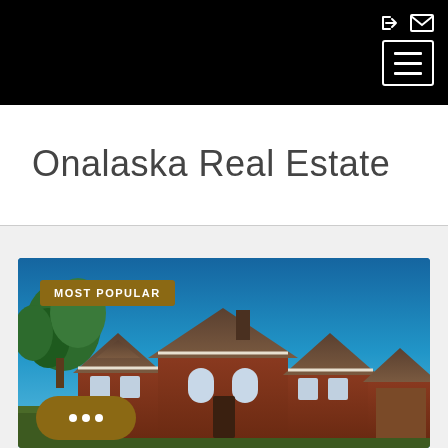Navigation bar with login, mail, and menu icons
Onalaska Real Estate
[Figure (photo): Exterior photo of a large brick residential home with multiple gabled rooflines, arched windows, and a chimney against a clear blue sky, with green trees visible to the left. A 'MOST POPULAR' badge overlays the top-left corner.]